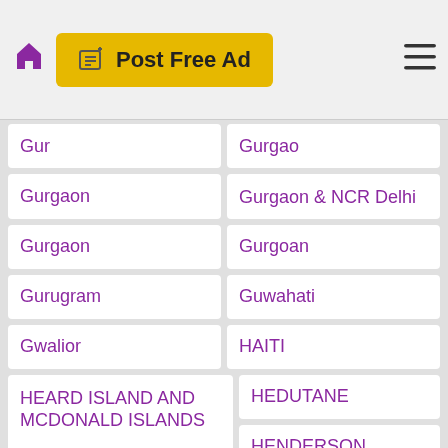Post Free Ad
Gur
Gurgao
Gurgaon
Gurgaon & NCR Delhi
Gurgaon
Gurgoan
Gurugram
Guwahati
Gwalior
HAITI
HEARD ISLAND AND MCDONALD ISLANDS
HEDUTANE
HENDERSON
HJ
HOLLAND
HOLY SEE (VATICAN CITY